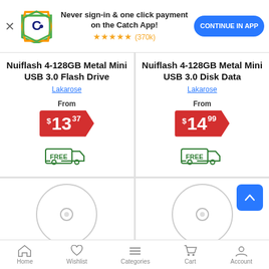[Figure (screenshot): App promotion banner with Catch.com.au logo, text 'Never sign-in & one click payment on the Catch App!', 5 star rating (370k), and 'CONTINUE IN APP' blue button]
Nuiflash 4-128GB Metal Mini USB 3.0 Flash Drive
Lakarose
From $13.37
FREE delivery
Nuiflash 4-128GB Metal Mini USB 3.0 Disk Data
Lakarose
From $14.99
FREE delivery
[Figure (photo): Product image placeholder - disc/CD]
[Figure (photo): Product image placeholder - disc/CD]
Home   Wishlist   Categories   Cart   Account